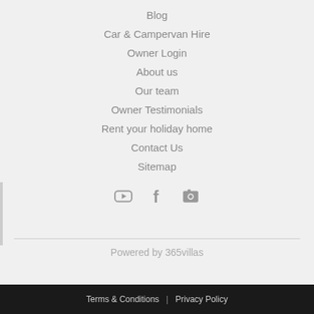Blog
Car & Campervan Hire
Owner Login
About us
Our team
Owner Testimonials
Rent your holiday home
Contact Us
Sitemap
[Figure (other): Social media icons: YouTube, Facebook, Instagram/Camera]
Powered by 365villas
Terms & Conditions  |  Privacy Policy